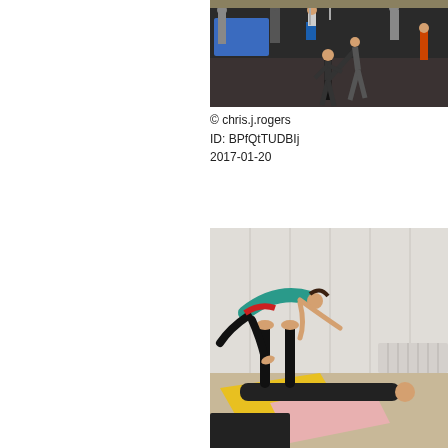[Figure (photo): Gymnastics training in a gym, two performers doing acrobatics on a black floor mat, blue mat visible in background, other gymnasts in background]
© chris.j.rogers
ID: BPfQtTUDBIj
2017-01-20
[Figure (photo): Acroyoga or acrobatic gymnastics, a person lying on their back lifting another person (in teal top and black pants) overhead with their feet, yellow and pink mats on the floor, white wall with radiator in background]
© ekaterinabolsha
ID: BPfONcaDLsx